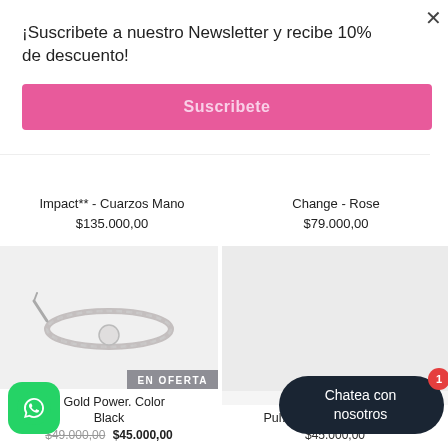¡Suscribete a nuestro Newsletter y recibe 10% de descuento!
Suscribete
Impact** - Cuarzos Mano
$135.000,00
Change - Rose
$79.000,00
[Figure (photo): Gray braided bracelet with adjustable cord and round charm, shown on white/light gray background. EN OFERTA badge visible.]
a Gold Power. Color Black
$49.000,00 $45.000,00
[Figure (photo): Right product card with light gray background, partially obscured by chat bubble.]
Pul... Swarovski - Arcoiris
$45.000,00
Chatea con nosotros